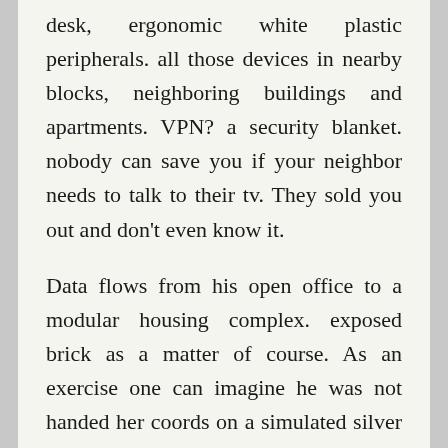desk, ergonomic white plastic peripherals. all those devices in nearby blocks, neighboring buildings and apartments. VPN? a security blanket. nobody can save you if your neighbor needs to talk to their tv. They sold you out and don't even know it.

Data flows from his open office to a modular housing complex. exposed brick as a matter of course. As an exercise one can imagine he was not handed her coords on a simulated silver platter: then you just check down the boxes.